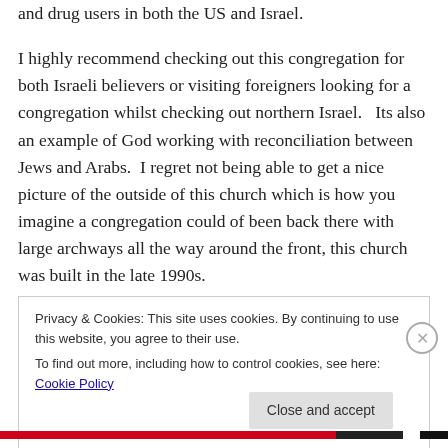and drug users in both the US and Israel.

I highly recommend checking out this congregation for both Israeli believers or visiting foreigners looking for a congregation whilst checking out northern Israel.   Its also an example of God working with reconciliation between Jews and Arabs.  I regret not being able to get a nice picture of the outside of this church which is how you imagine a congregation could of been back there with large archways all the way around the front, this church was built in the late 1990s.
Privacy & Cookies: This site uses cookies. By continuing to use this website, you agree to their use.
To find out more, including how to control cookies, see here: Cookie Policy